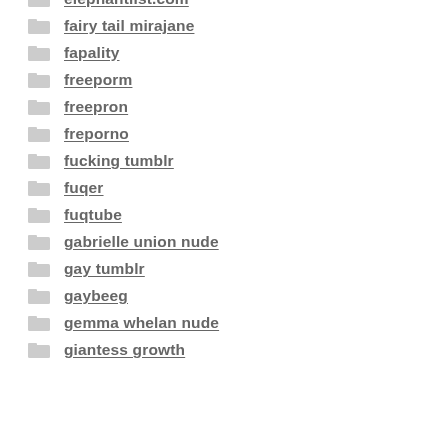elephantlist.com
fairy tail mirajane
fapality
freeporm
freepron
freporno
fucking tumblr
fuqer
fuqtube
gabrielle union nude
gay tumblr
gaybeeg
gemma whelan nude
giantess growth